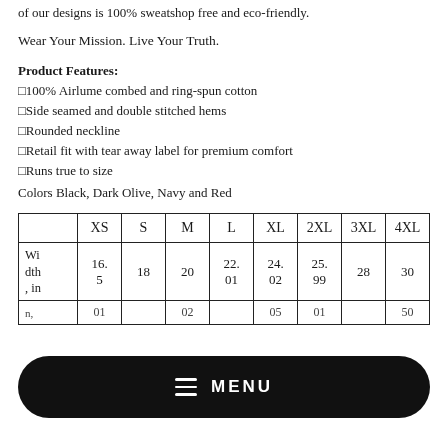of our designs is 100% sweatshop free and eco-friendly.
Wear Your Mission. Live Your Truth.
Product Features:
●100% Airlume combed and ring-spun cotton
●Side seamed and double stitched hems
●Rounded neckline
●Retail fit with tear away label for premium comfort
●Runs true to size
Colors Black, Dark Olive, Navy and Red
|  | XS | S | M | L | XL | 2XL | 3XL | 4XL |
| --- | --- | --- | --- | --- | --- | --- | --- | --- |
| Width, in | 16.5 | 18 | 20 | 22.01 | 24.02 | 25.99 | 28 | 30 |
| n, | 01 |  | 02 |  | 05 | 01 |  | 50 |